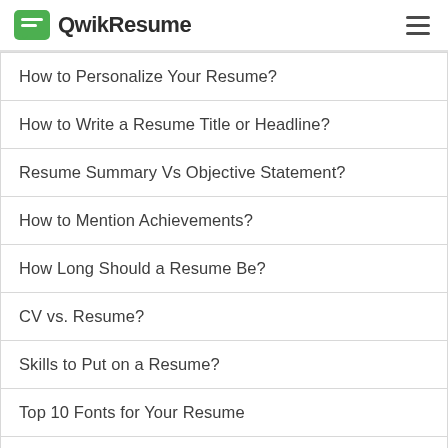QwikResume
How to Personalize Your Resume?
How to Write a Resume Title or Headline?
Resume Summary Vs Objective Statement?
How to Mention Achievements?
How Long Should a Resume Be?
CV vs. Resume?
Skills to Put on a Resume?
Top 10 Fonts for Your Resume
Do's and Dont's for a Great Resume